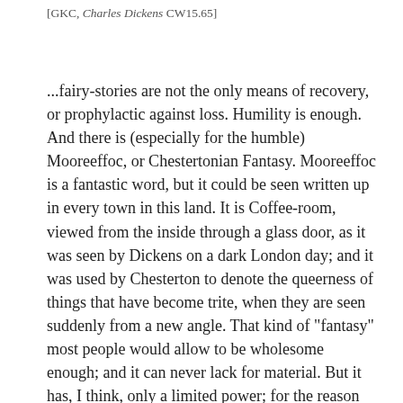[GKC, Charles Dickens CW15.65]
...fairy-stories are not the only means of recovery, or prophylactic against loss. Humility is enough. And there is (especially for the humble) Mooreeffoc, or Chestertonian Fantasy. Mooreeffoc is a fantastic word, but it could be seen written up in every town in this land. It is Coffee-room, viewed from the inside through a glass door, as it was seen by Dickens on a dark London day; and it was used by Chesterton to denote the queerness of things that have become trite, when they are seen suddenly from a new angle. That kind of "fantasy" most people would allow to be wholesome enough; and it can never lack for material. But it has, I think, only a limited power; for the reason that recovery of freshness of vision is its only virtue. The word Mooreeffoc may cause you suddenly to realize that England is an utterly alien land, lost either in some remote